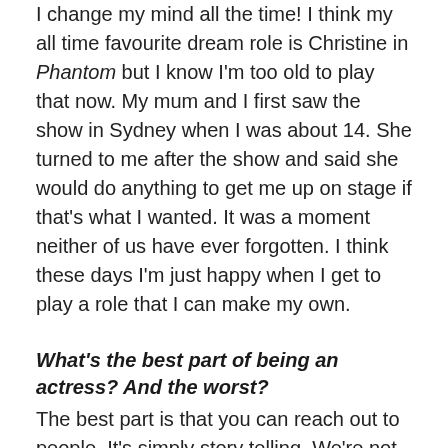I change my mind all the time! I think my all time favourite dream role is Christine in Phantom but I know I'm too old to play that now. My mum and I first saw the show in Sydney when I was about 14. She turned to me after the show and said she would do anything to get me up on stage if that's what I wanted. It was a moment neither of us have ever forgotten. I think these days I'm just happy when I get to play a role that I can make my own.
What's the best part of being an actress? And the worst?
The best part is that you can reach out to people. It's simply story telling. We're not doctors or the police or fire fighters – we don't save lives for a living or even help people with their everyday lives like plumbers or a postman – but we can make